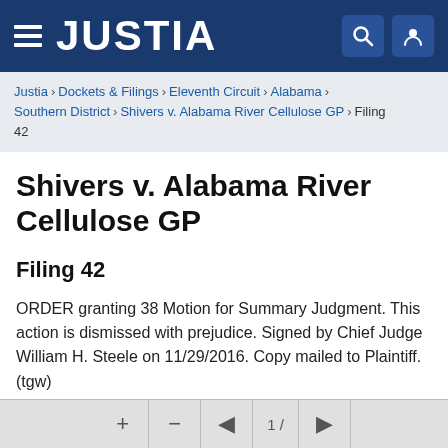JUSTIA
Justia › Dockets & Filings › Eleventh Circuit › Alabama › Southern District › Shivers v. Alabama River Cellulose GP › Filing 42
Shivers v. Alabama River Cellulose GP
Filing 42
ORDER granting 38 Motion for Summary Judgment. This action is dismissed with prejudice. Signed by Chief Judge William H. Steele on 11/29/2016. Copy mailed to Plaintiff. (tgw)
Download PDF